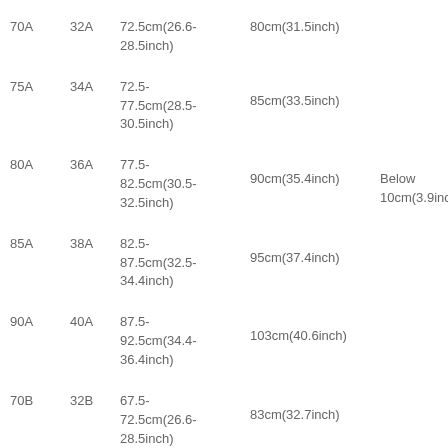| 70A | 32A | 72.5cm(26.6-28.5inch) | 80cm(31.5inch) |  |
| 75A | 34A | 72.5-77.5cm(28.5-30.5inch) | 85cm(33.5inch) |  |
| 80A | 36A | 77.5-82.5cm(30.5-32.5inch) | 90cm(35.4inch) | Below 10cm(3.9inch) |
| 85A | 38A | 82.5-87.5cm(32.5-34.4inch) | 95cm(37.4inch) |  |
| 90A | 40A | 87.5-92.5cm(34.4-36.4inch) | 103cm(40.6inch) |  |
| 70B | 32B | 67.5-72.5cm(26.6-28.5inch) | 83cm(32.7inch) |  |